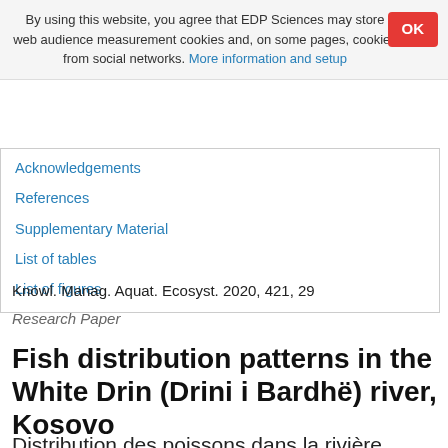By using this website, you agree that EDP Sciences may store web audience measurement cookies and, on some pages, cookies from social networks. More information and setup
Acknowledgements
References
Supplementary Material
List of tables
List of figures
Knowl. Manag. Aquat. Ecosyst. 2020, 421, 29
Research Paper
Fish distribution patterns in the White Drin (Drini i Bardhë) river, Kosovo
Distribution des poissons dans la rivière White